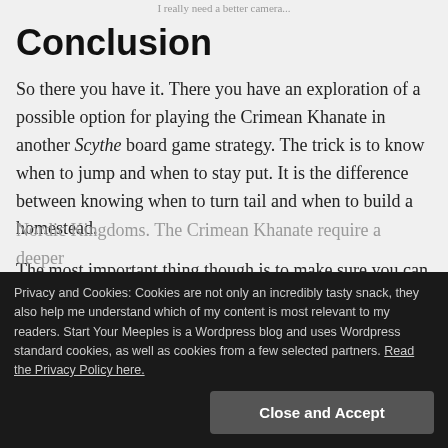I really need a better camera...
Conclusion
So there you have it. There you have an exploration of a possible option for playing the Crimean Khanate in another Scythe board game strategy. The trick is to know when to jump and when to stay put. It is the difference between knowing when to turn tail and when to build a homestead.
The most important thing though is to make sure you can report back to the Khan to tell him about the technology, or so the story says at least.
Nordic Kingdoms. The Crimean Khanate require a deeper
Privacy and Cookies: Cookies are not only an incredibly tasty snack, they also help me understand which of my content is most relevant to my readers. Start Your Meeples is a Wordpress blog and uses Wordpress standard cookies, as well as cookies from a few selected partners. Read the Privacy Policy here.
Close and Accept